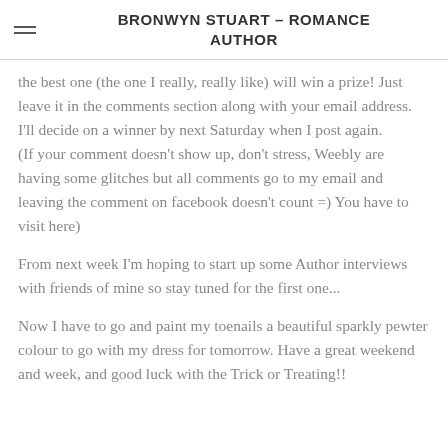BRONWYN STUART – ROMANCE AUTHOR
the best one (the one I really, really like) will win a prize! Just leave it in the comments section along with your email address. I'll decide on a winner by next Saturday when I post again.
(If your comment doesn't show up, don't stress, Weebly are having some glitches but all comments go to my email and leaving the comment on facebook doesn't count =) You have to visit here)
From next week I'm hoping to start up some Author interviews with friends of mine so stay tuned for the first one...
Now I have to go and paint my toenails a beautiful sparkly pewter colour to go with my dress for tomorrow. Have a great weekend and week, and good luck with the Trick or Treating!!